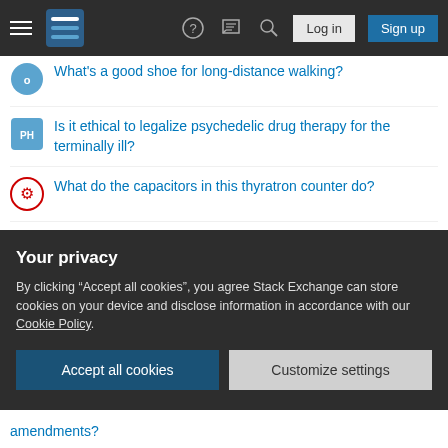Stack Exchange navigation bar with hamburger menu, logo, help, chat, search icons, Log in and Sign up buttons
What's a good shoe for long-distance walking?
Is it ethical to legalize psychedelic drug therapy for the terminally ill?
What do the capacitors in this thyratron counter do?
Are there rules about "off the record" in journalism?
Why is there a long star field sequence at the beginning of “Star Trek: The Motion Picture?”
Did most or just few physicists think in 1900 that there was nothing important left to discover?
How can Key be understood differently when composing music vs playing it as a musician?
Do non-commuting Hamiltonians have non-commuting time evolution
Your privacy
By clicking “Accept all cookies”, you agree Stack Exchange can store cookies on your device and disclose information in accordance with our Cookie Policy.
amendments?